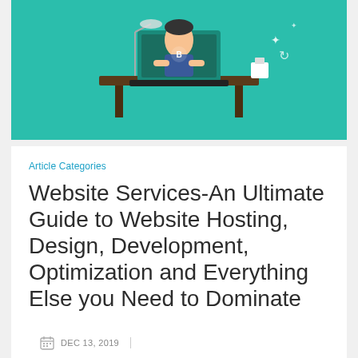[Figure (illustration): Illustration of a person sitting at a desk with a laptop in front of a teal background, with icons suggesting web and technology work.]
Article Categories
Website Services-An Ultimate Guide to Website Hosting, Design, Development, Optimization and Everything Else you Need to Dominate
DEC 13, 2019